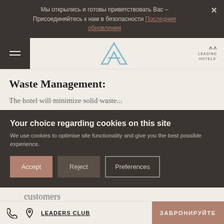Мы открылись и готовы приветствовать Вас – Присоединяйтесь к нам в безопасности Последние обновления
[Figure (logo): Hotel logo with stylized letter A in light blue outline, and 'THE LEADING HOTELS' text badge on the right]
Waste Management:
The hotel will minimize solid waste...
Your choice regarding cookies on this site
We use cookies to optimise site functionality and give you the best possible experience.
Accept | Reject | Preferences
customers
Become a Less-paper hotel in all
LEADERS CLUB | ЗАБРОНИРУЙТЕ